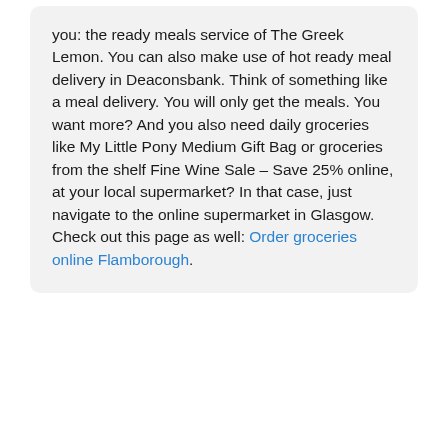you: the ready meals service of The Greek Lemon. You can also make use of hot ready meal delivery in Deaconsbank. Think of something like a meal delivery. You will only get the meals. You want more? And you also need daily groceries like My Little Pony Medium Gift Bag or groceries from the shelf Fine Wine Sale – Save 25% online, at your local supermarket? In that case, just navigate to the online supermarket in Glasgow. Check out this page as well: Order groceries online Flamborough.